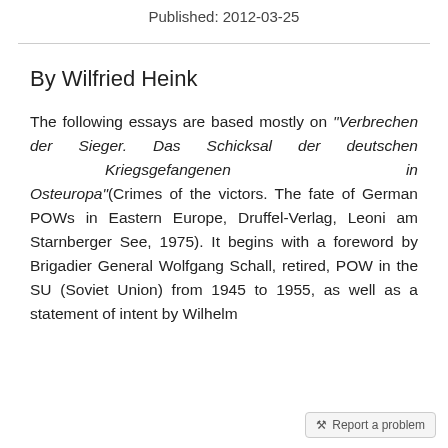Published: 2012-03-25
By Wilfried Heink
The following essays are based mostly on “Verbrechen der Sieger. Das Schicksal der deutschen Kriegsgefangenen in Osteuropa”(Crimes of the victors. The fate of German POWs in Eastern Europe, Druffel-Verlag, Leoni am Starnberger See, 1975). It begins with a foreword by Brigadier General Wolfgang Schall, retired, POW in the SU (Soviet Union) from 1945 to 1955, as well as a statement of intent by Wilhelm